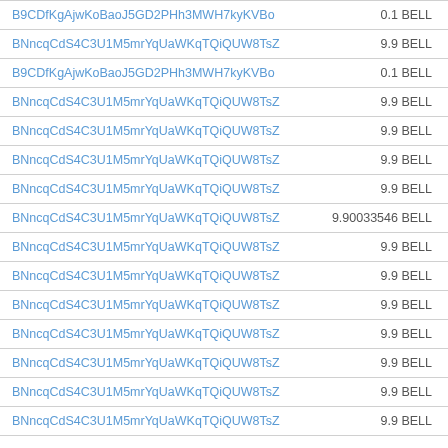| Address | Amount |
| --- | --- |
| B9CDfKgAjwKoBaoJ5GD2PHh3MWH7kyKVBo | 0.1 BELL |
| BNncqCdS4C3U1M5mrYqUaWKqTQiQUW8TsZ | 9.9 BELL |
| B9CDfKgAjwKoBaoJ5GD2PHh3MWH7kyKVBo | 0.1 BELL |
| BNncqCdS4C3U1M5mrYqUaWKqTQiQUW8TsZ | 9.9 BELL |
| BNncqCdS4C3U1M5mrYqUaWKqTQiQUW8TsZ | 9.9 BELL |
| BNncqCdS4C3U1M5mrYqUaWKqTQiQUW8TsZ | 9.9 BELL |
| BNncqCdS4C3U1M5mrYqUaWKqTQiQUW8TsZ | 9.9 BELL |
| BNncqCdS4C3U1M5mrYqUaWKqTQiQUW8TsZ | 9.90033546 BELL |
| BNncqCdS4C3U1M5mrYqUaWKqTQiQUW8TsZ | 9.9 BELL |
| BNncqCdS4C3U1M5mrYqUaWKqTQiQUW8TsZ | 9.9 BELL |
| BNncqCdS4C3U1M5mrYqUaWKqTQiQUW8TsZ | 9.9 BELL |
| BNncqCdS4C3U1M5mrYqUaWKqTQiQUW8TsZ | 9.9 BELL |
| BNncqCdS4C3U1M5mrYqUaWKqTQiQUW8TsZ | 9.9 BELL |
| BNncqCdS4C3U1M5mrYqUaWKqTQiQUW8TsZ | 9.9 BELL |
| BNncqCdS4C3U1M5mrYqUaWKqTQiQUW8TsZ | 9.9 BELL |